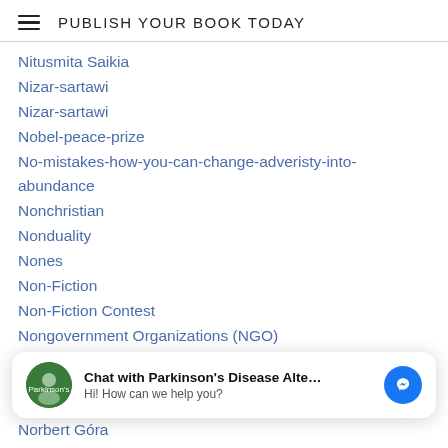PUBLISH YOUR BOOK TODAY
Nitusmita Saikia
Nizar-sartawi
Nizar-sartawi
Nobel-peace-prize
No-mistakes-how-you-can-change-adveristy-into-abundance
Nonchristian
Nonduality
Nones
Non-Fiction
Non-Fiction Contest
Nongovernment Organizations (NGO)
Nonindustrial-languages
Chat with Parkinson's Disease Alte...
Hi! How can we help you?
Norbert Góra